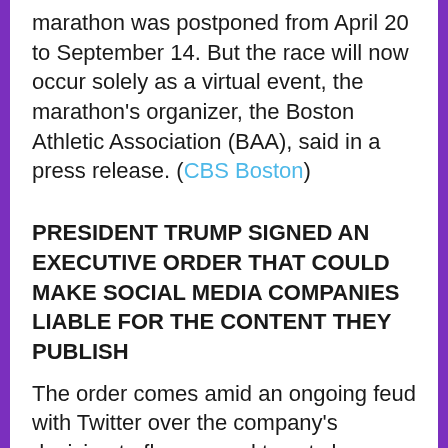marathon was postponed from April 20 to September 14. But the race will now occur solely as a virtual event, the marathon's organizer, the Boston Athletic Association (BAA), said in a press release. (CBS Boston)
PRESIDENT TRUMP SIGNED AN EXECUTIVE ORDER THAT COULD MAKE SOCIAL MEDIA COMPANIES LIABLE FOR THE CONTENT THEY PUBLISH
The order comes amid an ongoing feud with Twitter over the company's decision to flag several tweets by President Trump for spreading misinformation about mail-in ballots and for glorifying violence. The President responded to Twitter's interventions by